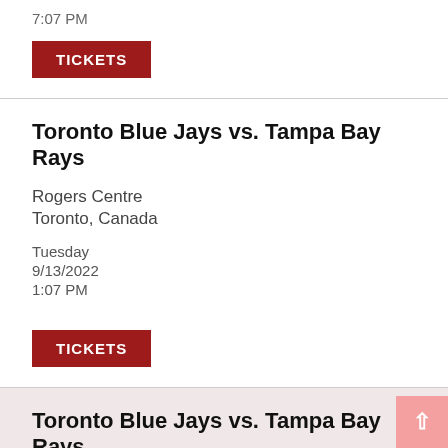7:07 PM
TICKETS
Toronto Blue Jays vs. Tampa Bay Rays
Rogers Centre
Toronto, Canada
Tuesday
9/13/2022
1:07 PM
TICKETS
Toronto Blue Jays vs. Tampa Bay Rays